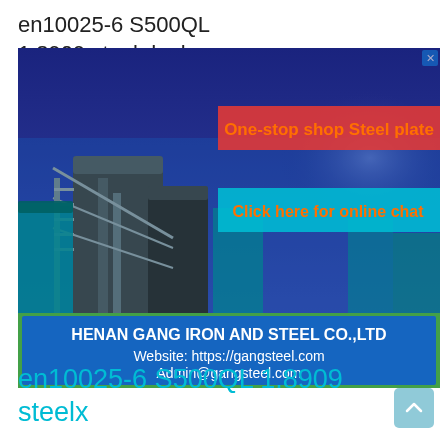en10025-6 S500QL 1.8909 steel dealers
[Figure (photo): Steel plant facility with industrial silos and an overlay advertisement showing 'One-stop shop Steel plate' in red on blue background, 'Click here for online chat' in cyan on blue background, and company info 'HENAN GANG IRON AND STEEL CO.,LTD Website: https://gangsteel.com Admin@gangsteel.com' on blue/green background.]
en10025-6 S500QL 1.8909 steelx